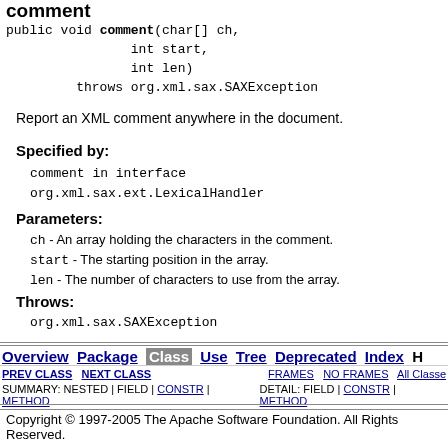comment
Report an XML comment anywhere in the document.
Specified by:
comment in interface org.xml.sax.ext.LexicalHandler
Parameters:
ch - An array holding the characters in the comment.
start - The starting position in the array.
len - The number of characters to use from the array.
Throws:
org.xml.sax.SAXException
Overview | Package | Class | Use | Tree | Deprecated | Index | H
PREV CLASS   NEXT CLASS   FRAMES   NO FRAMES   All Classes
SUMMARY: NESTED | FIELD | CONSTR | METHOD   DETAIL: FIELD | CONSTR | METHOD
Copyright © 1997-2005 The Apache Software Foundation. All Rights Reserved.